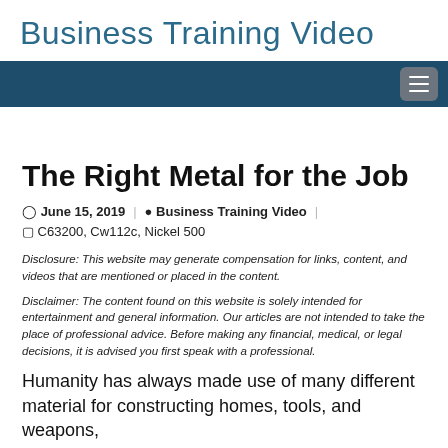Business Training Video
The Right Metal for the Job
June 15, 2019 | Business Training Video | C63200, Cw112c, Nickel 500
Disclosure: This website may generate compensation for links, content, and videos that are mentioned or placed in the content.
Disclaimer: The content found on this website is solely intended for entertainment and general information. Our articles are not intended to take the place of professional advice. Before making any financial, medical, or legal decisions, it is advised you first speak with a professional.
Humanity has always made use of many different material for constructing homes, tools, and weapons,